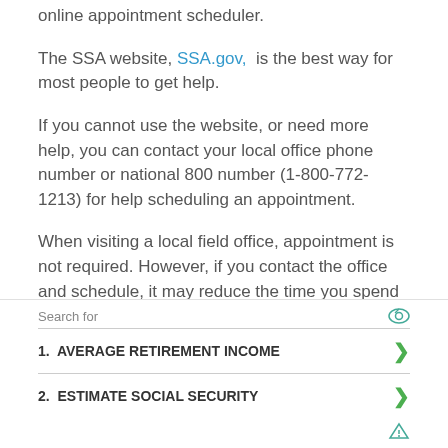online appointment scheduler.
The SSA website, SSA.gov, is the best way for most people to get help.
If you cannot use the website, or need more help, you can contact your local office phone number or national 800 number (1-800-772-1213) for help scheduling an appointment.
When visiting a local field office, appointment is not required. However, if you contact the office and schedule, it may reduce the time you spend waiting for help.
How do I speak to a live person at Social Security?
If you cannot handle your business through the
Search for
1.  AVERAGE RETIREMENT INCOME
2.  ESTIMATE SOCIAL SECURITY